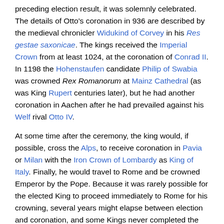preceding election result, it was solemnly celebrated. The details of Otto's coronation in 936 are described by the medieval chronicler Widukind of Corvey in his Res gestae saxonicae. The kings received the Imperial Crown from at least 1024, at the coronation of Conrad II. In 1198 the Hohenstaufen candidate Philip of Swabia was crowned Rex Romanorum at Mainz Cathedral (as was King Rupert centuries later), but he had another coronation in Aachen after he had prevailed against his Welf rival Otto IV.
At some time after the ceremony, the king would, if possible, cross the Alps, to receive coronation in Pavia or Milan with the Iron Crown of Lombardy as King of Italy. Finally, he would travel to Rome and be crowned Emperor by the Pope. Because it was rarely possible for the elected King to proceed immediately to Rome for his crowning, several years might elapse between election and coronation, and some Kings never completed the journey to Rome at all. As a suitable title for the King between his election and his coronation as Emperor, Romanorum Rex would stress the plenitude of his authority over the Empire and his warrant to be future Emperor (Imperator futurus) without infringing upon the Papal privilege.